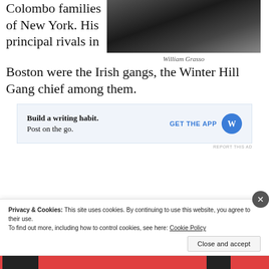Colombo families of New York. His principal rivals in Boston were the Irish gangs, the Winter Hill Gang chief among them.
[Figure (photo): Black and white photograph of William Grasso]
William Grasso
[Figure (screenshot): Advertisement: Build a writing habit. Post on the go. GET THE APP with WordPress icon]
Privacy & Cookies: This site uses cookies. By continuing to use this website, you agree to their use.
To find out more, including how to control cookies, see here: Cookie Policy
Close and accept